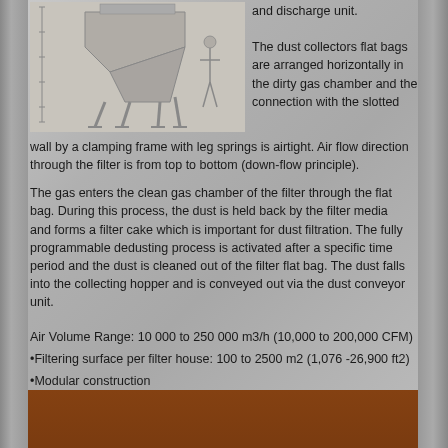[Figure (engineering-diagram): Industrial dust collector / filter unit with hopper and legs, shown with a human figure for scale]
and discharge unit.
The dust collectors flat bags are arranged horizontally in the dirty gas chamber and the connection with the slotted wall by a clamping frame with leg springs is airtight. Air flow direction through the filter is from top to bottom (down-flow principle).
The gas enters the clean gas chamber of the filter through the flat bag. During this process, the dust is held back by the filter media and forms a filter cake which is important for dust filtration. The fully programmable dedusting process is activated after a specific time period and the dust is cleaned out of the filter flat bag. The dust falls into the collecting hopper and is conveyed out via the dust conveyor unit.
Air Volume Range: 10 000 to 250 000 m3/h (10,000 to 200,000 CFM)
Filtering surface per filter house: 100 to 2500 m2 (1,076 -26,900 ft2)
Modular construction